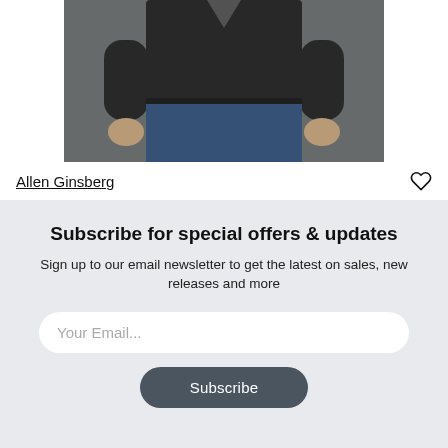[Figure (photo): Photo of a person wearing a dark grey/black t-shirt and jeans, standing in front of a brick wall. Only the torso and arms are visible, no head shown.]
Allen Ginsberg
Subscribe for special offers & updates
Sign up to our email newsletter to get the latest on sales, new releases and more
Your Email...
Subscribe